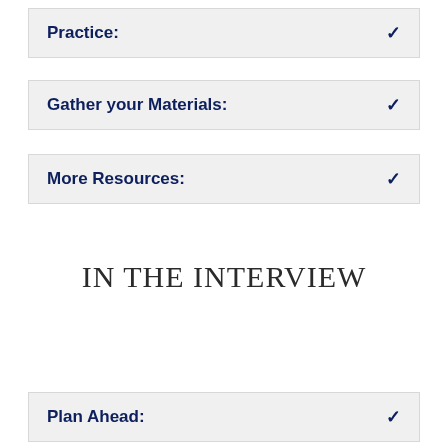Practice:
Gather your Materials:
More Resources:
IN THE INTERVIEW
Plan Ahead: